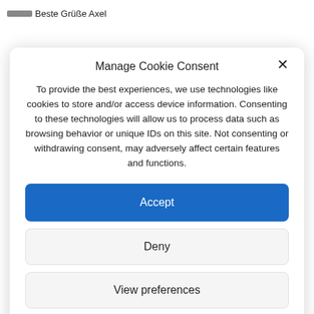Beste Grüße Axel
Manage Cookie Consent
To provide the best experiences, we use technologies like cookies to store and/or access device information. Consenting to these technologies will allow us to process data such as browsing behavior or unique IDs on this site. Not consenting or withdrawing consent, may adversely affect certain features and functions.
Accept
Deny
View preferences
Cookie Policy   Disclaimer – Privacy Policy   Disclaimer – Privacy Policy